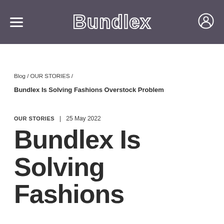Bundlex
Blog / OUR STORIES /
Bundlex Is Solving Fashions Overstock Problem
OUR STORIES | 25 May 2022
Bundlex Is Solving Fashions